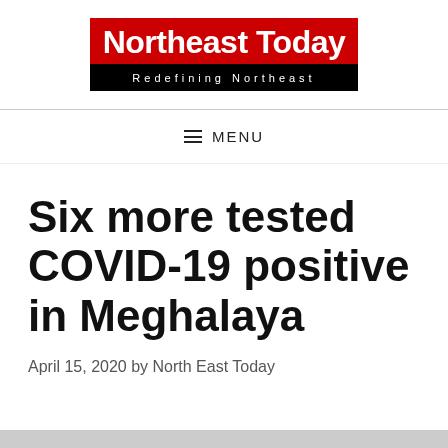[Figure (logo): Northeast Today logo with red banner reading 'Northeast Today' and black strip reading 'Redefining Northeast']
≡ MENU
Six more tested COVID-19 positive in Meghalaya
April 15, 2020 by North East Today